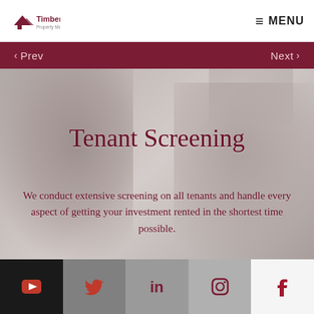[Figure (logo): Timberline Property Management logo with house/mountain icon in dark red]
≡ MENU
‹ Prev   Next ›
Tenant Screening
We conduct extensive screening on all tenants and handle every aspect of getting your investment rented in the shortest time possible.
[Figure (infographic): Social media icon bar: YouTube, Twitter, LinkedIn, Instagram, Facebook]